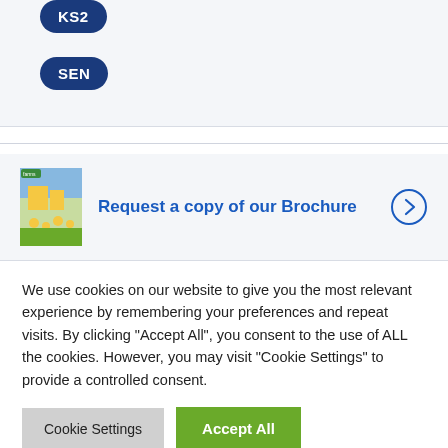KS2
SEN
[Figure (illustration): Brochure thumbnail image showing outdoor school activity with children and yellow flowers]
Request a copy of our Brochure
We use cookies on our website to give you the most relevant experience by remembering your preferences and repeat visits. By clicking "Accept All", you consent to the use of ALL the cookies. However, you may visit "Cookie Settings" to provide a controlled consent.
Cookie Settings
Accept All